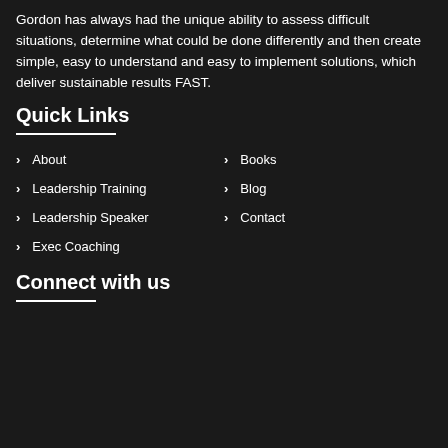Gordon has always had the unique ability to assess difficult situations, determine what could be done differently and then create simple, easy to understand and easy to implement solutions, which deliver sustainable results FAST.
Quick Links
About
Books
Leadership Training
Blog
Leadership Speaker
Contact
Exec Coaching
Connect with us